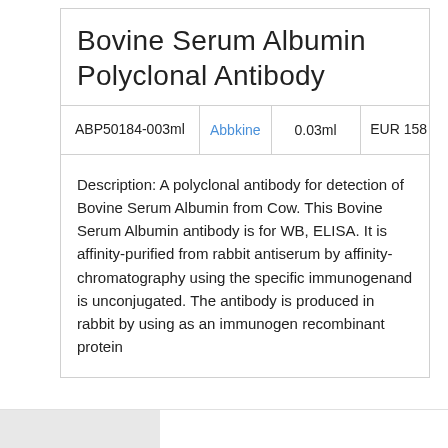Bovine Serum Albumin Polyclonal Antibody
| Catalog | Brand | Volume | Price |
| --- | --- | --- | --- |
| ABP50184-003ml | Abbkine | 0.03ml | EUR 158 |
Description: A polyclonal antibody for detection of Bovine Serum Albumin from Cow. This Bovine Serum Albumin antibody is for WB, ELISA. It is affinity-purified from rabbit antiserum by affinity-chromatography using the specific immunogenand is unconjugated. The antibody is produced in rabbit by using as an immunogen recombinant protein